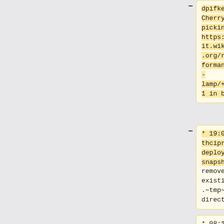- dpifke: Cherry picking https://gerrit.wikimedia.org/r/c/performance/arc-lamp/+/626241 in beta.
+ brennen: gitlab-prod-1001.devtools: container registry currently enabled
- * 19:04 thcipriani: deployment-snapshot01 removed existing .~tmp~ directories
+ * 18:58 brennen: gitlab-prod-1001.devtools: setting to use devtools standalone puppetmaster
* 08:18